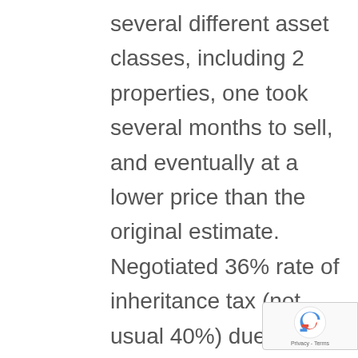several different asset classes, including 2 properties, one took several months to sell, and eventually at a lower price than the original estimate. Negotiated 36% rate of inheritance tax (not usual 40%) due to gifts of artworks to a museum, advising on and varying the Will to make it more tax effective, reclaiming overpaid tax from HMRC. Because the estate was complex we did not